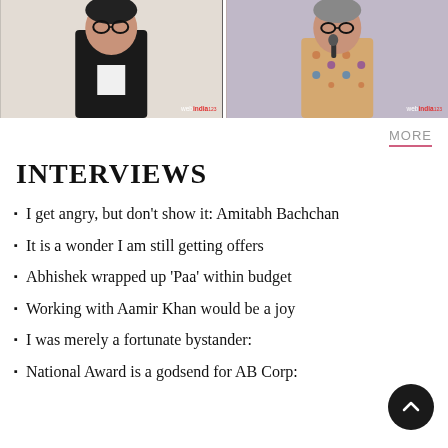[Figure (photo): Two side-by-side photos of Amitabh Bachchan. Left: in a dark suit against a branded backdrop with webindia123 watermark. Right: in a floral/patterned outfit speaking at a microphone with webindia123 watermark.]
MORE
INTERVIEWS
I get angry, but don't show it: Amitabh Bachchan
It is a wonder I am still getting offers
Abhishek wrapped up 'Paa' within budget
Working with Aamir Khan would be a joy
I was merely a fortunate bystander:
National Award is a godsend for AB Corp: